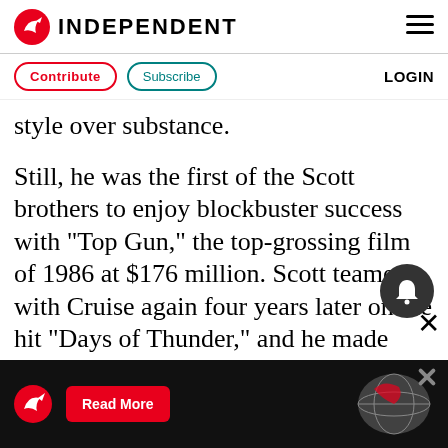INDEPENDENT
Contribute | Subscribe | LOGIN
style over substance.
Still, he was the first of the Scott brothers to enjoy blockbuster success with "Top Gun," the top-grossing film of 1986 at $176 million. Scott teamed with Cruise again four years later on the hit "Days of Thunder," and he made five films with Washington, including "Man on Fire," "Deja Vu" and "The Taking of Pelham 123."
Other Scott films include "True Romance," written by Quentin Tarantino, "The Fan," with
[Figure (logo): Advertisement banner with Independent logo, Read More button, and globe graphic]